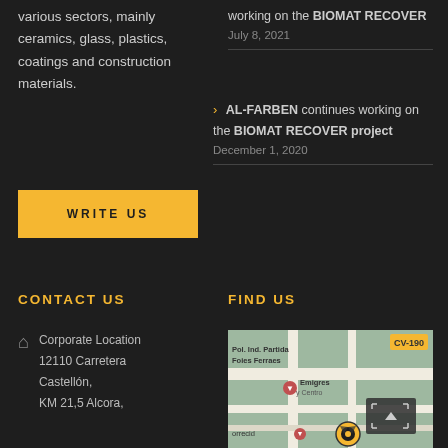various sectors, mainly ceramics, glass, plastics, coatings and construction materials.
working on the BIOMAT RECOVER
July 8, 2021
AL-FARBEN continues working on the BIOMAT RECOVER project
December 1, 2020
WRITE US
CONTACT US
FIND US
Corporate Location
12110 Carretera Castellón,
KM 21,5 Alcora,
[Figure (map): Google Maps embed showing Pol. Ind. Partida Foies Ferraes location near Emigres y Centro, with AL-FARBEN logo marker and map controls]